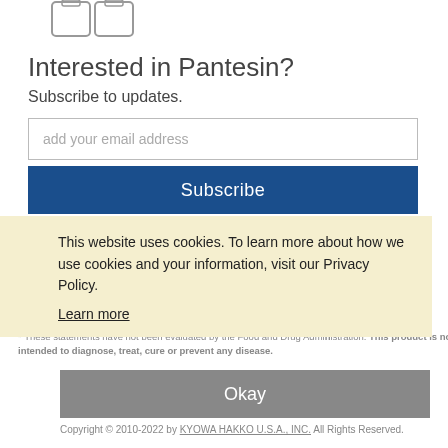[Figure (illustration): Partial product image (bottles/containers) at top left]
Interested in Pantesin?
Subscribe to updates.
add your email address
Subscribe
This website uses cookies. To learn more about how we use cookies and your information, visit our Privacy Policy.
Learn more
Home | Get News Alerts | Click Here to Find | Privacy Policy | Kyowa Hakko... | ...Settings | Contact Us | Site Map | Kyowa Partner Toolkit
* These statements have not been evaluated by the Food and Drug Administration. This product is not intended to diagnose, treat, cure or prevent any disease.
Okay
Copyright © 2010-2022 by KYOWA HAKKO U.S.A., INC. All Rights Reserved.